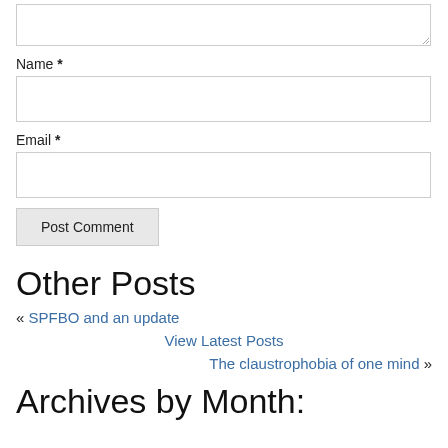[textarea — comment input box]
Name *
[Name input box]
Email *
[Email input box]
Post Comment
Other Posts
« SPFBO and an update
View Latest Posts
The claustrophobia of one mind »
Archives by Month: